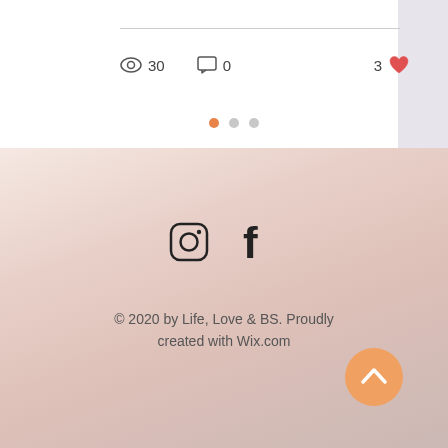[Figure (infographic): Stats row showing eye icon with 30 views, chat icon with 0 comments, and heart icon with 3 likes]
[Figure (infographic): Three pagination dots, first orange (active), second and third gray]
[Figure (infographic): Instagram and Facebook social media icons]
© 2020 by Life, Love & BS. Proudly created with Wix.com